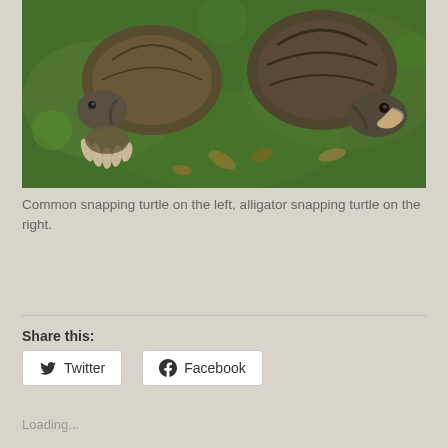[Figure (photo): Two snapping turtles on mossy ground. Common snapping turtle on the left, alligator snapping turtle on the right. The turtles are viewed from above, showing their shells, heads, and claws on bright green moss.]
Common snapping turtle on the left, alligator snapping turtle on the right.
Share this:
Twitter
Facebook
Loading...